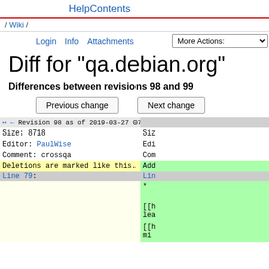HelpContents
/ Wiki /
Login  Info  Attachments  More Actions:
Diff for "qa.debian.org"
Differences between revisions 98 and 99
Previous change   Next change
| Revision 98 as of 2019-03-27 07:56:50 → |  |
| --- | --- |
| Size: 8718 | Siz... |
| Editor: PaulWise | Edi... |
| Comment: crossqa | Com... |
| Deletions are marked like this. | Add... |
| Line 79: | Lin... |
|  | * |
|  | [[h... lea... |
|  | [[h... mi... |